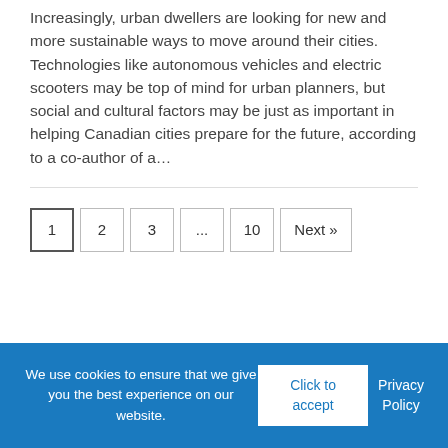Increasingly, urban dwellers are looking for new and more sustainable ways to move around their cities. Technologies like autonomous vehicles and electric scooters may be top of mind for urban planners, but social and cultural factors may be just as important in helping Canadian cities prepare for the future, according to a co-author of a…
1  2  3  ...  10  Next »
We use cookies to ensure that we give you the best experience on our website.
Click to accept
Privacy Policy